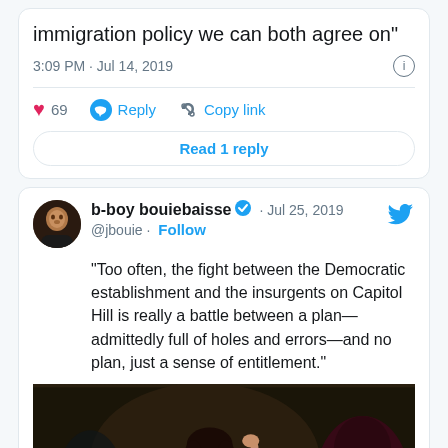immigration policy we can both agree on"
3:09 PM · Jul 14, 2019
69  Reply  Copy link
Read 1 reply
b-boy bouiebaisse · Jul 25, 2019
@jbouie · Follow
"Too often, the fight between the Democratic establishment and the insurgents on Capitol Hill is really a battle between a plan—admittedly full of holes and errors—and no plan, just a sense of entitlement."
[Figure (photo): Photo of a woman speaking at a podium or event, with other people visible in the background, dark background lighting.]